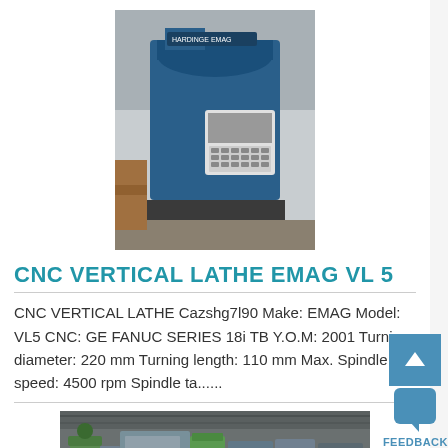[Figure (photo): CNC vertical lathe machine EMAG VL5, blue and white industrial machine with control panel, in a workshop/factory setting]
CNC VERTICAL LATHE EMAG VL 5
CNC VERTICAL LATHE Cazshg7l90 Make: EMAG Model: VL5 CNC: GE FANUC SERIES 18i TB Y.O.M: 2001 Turning diameter: 220 mm Turning length: 110 mm Max. Spindle speed: 4500 rpm Spindle ta......
[Figure (photo): Wide-angle photograph of a large industrial workshop with multiple CNC machines and equipment]